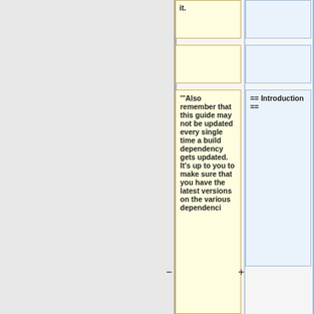it.
'''Also remember that this guide may not be updated every single time a build dependency gets updated. It's up to you to make sure that you have the latest versions on the various dependenci...
== Introduction ==